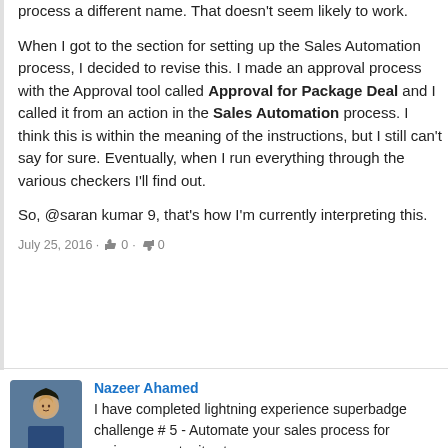process a different name. That doesn't seem likely to work.

When I got to the section for setting up the Sales Automation process, I decided to revise this. I made an approval process with the Approval tool called Approval for Package Deal and I called it from an action in the Sales Automation process. I think this is within the meaning of the instructions, but I still can't say for sure. Eventually, when I run everything through the various checkers I'll find out.

So, @saran kumar 9, that's how I'm currently interpreting this.
July 25, 2016 · 👍 0 · 👎 0
Nazeer Ahamed
I have completed lightning experience superbadge challenge # 5 - Automate your sales process for various opportunity stages.
Calling the approval process which was created